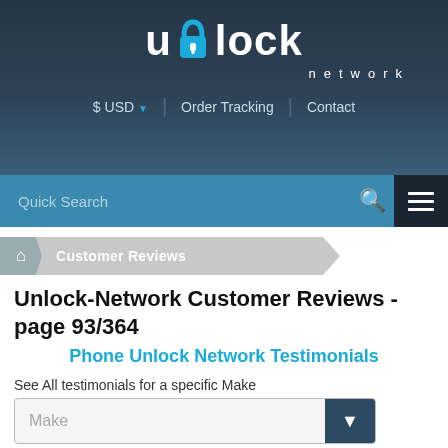[Figure (logo): Unlock Network logo with stylized lock icon, white text on dark blue-grey background]
$ USD  Order Tracking  Contact
[Figure (screenshot): Search bar with Quick Search placeholder and hamburger menu icon]
Customer Reviews
Unlock-Network Customer Reviews - page 93/364
Phone Unlock Network Testimonials
See All testimonials for a specific Make
Make
Trusted, authentic, transaction-based only: